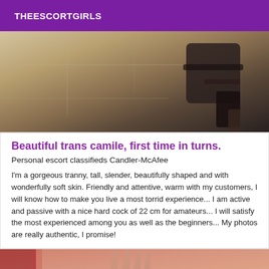THEESCORTGIRLS
[Figure (photo): Close-up photo showing feet/heels with dark high-heeled sandals on a light tiled floor]
Beautiful trans camile, first time in turns.
Personal escort classifieds Candler-McAfee
I'm a gorgeous tranny, tall, slender, beautifully shaped and with wonderfully soft skin. Friendly and attentive, warm with my customers, I will know how to make you live a most torrid experience... I am active and passive with a nice hard cock of 22 cm for amateurs... I will satisfy the most experienced among you as well as the beginners... My photos are really authentic, I promise!
[Figure (photo): Partial photo showing hands raised against a reddish/pink background with a red curtain]